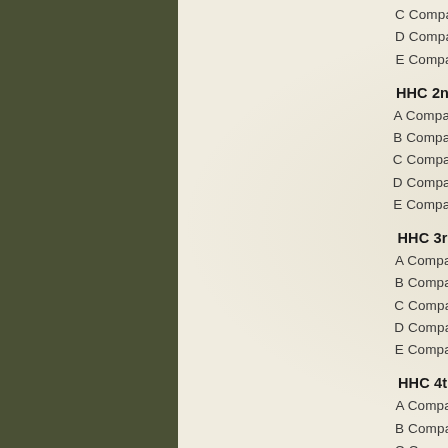C Company 6th Battalion 31st Infantry Regiment
D Company 6th Battalion 31st Infantry Regiment
E Company 6th Battalion 31st Infantry Regiment
HHC 2nd Battalion 39th Infantry Regiment
A Company 2nd Battalion 39th Infantry Regiment
B Company 2nd Battalion 39th Infantry Regiment
C Company 2nd Battalion 39th Infantry Regiment
D Company 2nd Battalion 39th Infantry Regiment
E Company 2nd Battalion 39th Infantry Regiment
HHC 3rd Battalion 39th Infantry Regiment
A Company 3rd Battalion 39th Infantry Regiment
B Company 3rd Battalion 39th Infantry Regiment
C Company 3rd Battalion 39th Infantry Regiment
D Company 3rd Battalion 39th Infantry Regiment
E Company 3rd Battalion 39th Infantry Regiment
HHC 4th Battalion 39th Infantry Regiment
A Company 4th Battalion 39th Infantry Regiment
B Company 4th Battalion 39th Infantry Regiment
C Company 4th Battalion 39th Infantry Regiment
D Company 4th Battalion 39th Infantry Regiment